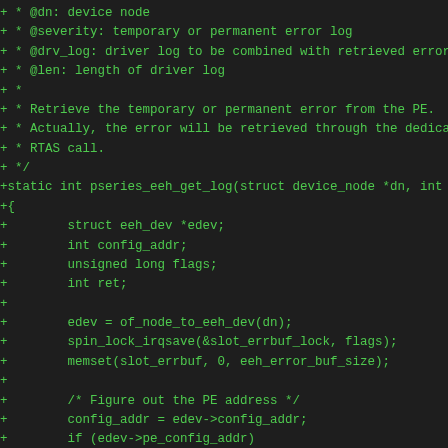+ * @dn: device node
+ * @severity: temporary or permanent error log
+ * @drv_log: driver log to be combined with retrieved error
+ * @len: length of driver log
+ *
+ * Retrieve the temporary or permanent error from the PE.
+ * Actually, the error will be retrieved through the dedicat
+ * RTAS call.
+ */
+static int pseries_eeh_get_log(struct device_node *dn, int s
+{
+        struct eeh_dev *edev;
+        int config_addr;
+        unsigned long flags;
+        int ret;
+
+        edev = of_node_to_eeh_dev(dn);
+        spin_lock_irqsave(&slot_errbuf_lock, flags);
+        memset(slot_errbuf, 0, eeh_error_buf_size);
+
+        /* Figure out the PE address */
+        config_addr = edev->config_addr;
+        if (edev->pe_config_addr)
+                config_addr = edev->pe_config_addr;
+